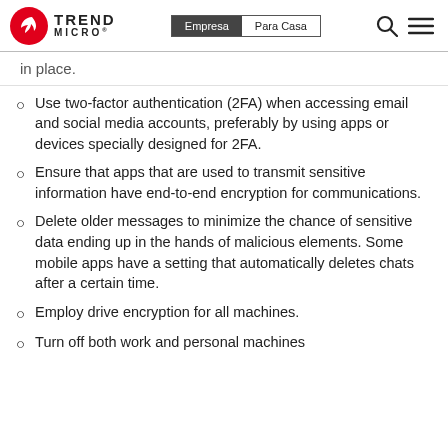Trend Micro | Empresa | Para Casa
in place.
Use two-factor authentication (2FA) when accessing email and social media accounts, preferably by using apps or devices specially designed for 2FA.
Ensure that apps that are used to transmit sensitive information have end-to-end encryption for communications.
Delete older messages to minimize the chance of sensitive data ending up in the hands of malicious elements. Some mobile apps have a setting that automatically deletes chats after a certain time.
Employ drive encryption for all machines.
Turn off both work and personal machines